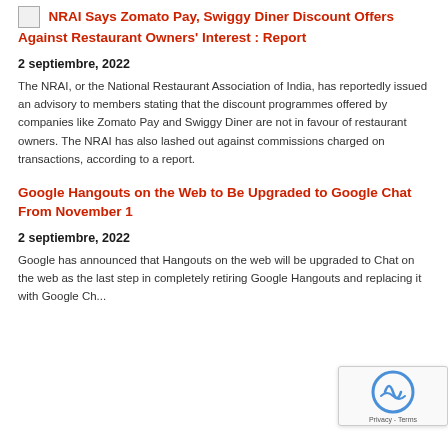NRAI Says Zomato Pay, Swiggy Diner Discount Offers Against Restaurant Owners' Interest : Report
2 septiembre, 2022
The NRAI, or the National Restaurant Association of India, has reportedly issued an advisory to members stating that the discount programmes offered by companies like Zomato Pay and Swiggy Diner are not in favour of restaurant owners. The NRAI has also lashed out against commissions charged on transactions, according to a report.
Google Hangouts on the Web to Be Upgraded to Google Chat From November 1
2 septiembre, 2022
Google has announced that Hangouts on the web will be upgraded to Chat on the web as the last step in completely retiring Google Hangouts and replacing it with Google Chat.